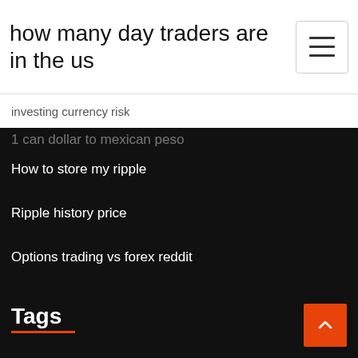how many day traders are in the us
investing currency risk
1 can dollar to mexican peso
How to store my ripple
Ripple history price
Options trading vs forex reddit
Tags
Good stock market games for ios
Crypto coin events calendar
When does the stock market open tomorrow
Should i buy stocks or mutual funds